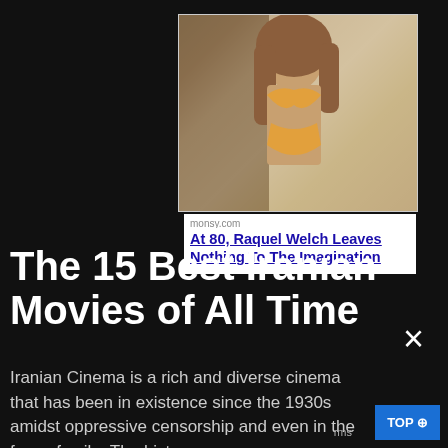[Figure (photo): Advertisement card showing a woman in a floral bikini with source monsy.com and title 'At 80, Raquel Welch Leaves Nothing To The Imagination']
monsy.com
At 80, Raquel Welch Leaves Nothing To The Imagination
The 15 Best Iranian Movies of All Time
Iranian Cinema is a rich and diverse cinema that has been in existence since the 1930s amidst oppressive censorship and even in the face of exile. The history...